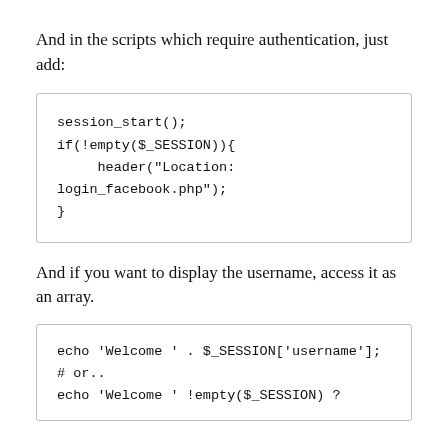And in the scripts which require authentication, just add:
[Figure (screenshot): Code block showing PHP session authentication snippet: session_start(); if(!empty($_SESSION)){ header("Location: login_facebook.php"); }]
And if you want to display the username, access it as an array.
[Figure (screenshot): Code block showing PHP echo username snippet: echo 'Welcome ' . $_SESSION['username']; # or.. echo 'Welcome ' !empty($_SESSION) ?]